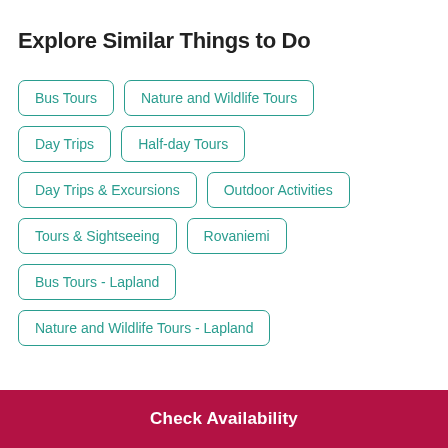Explore Similar Things to Do
Bus Tours
Nature and Wildlife Tours
Day Trips
Half-day Tours
Day Trips & Excursions
Outdoor Activities
Tours & Sightseeing
Rovaniemi
Bus Tours - Lapland
Nature and Wildlife Tours - Lapland
Check Availability